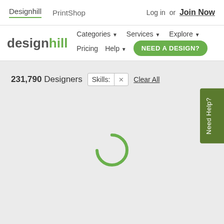Designhill  PrintShop  Log in or Join Now
[Figure (screenshot): Designhill website navigation bar with logo, Categories, Services, Explore, Pricing, Help dropdowns, and a green 'NEED A DESIGN?' button]
231,790 Designers  Skills: ×  Clear All
[Figure (other): Loading spinner (green circular arc) indicating content is loading]
Need Help?